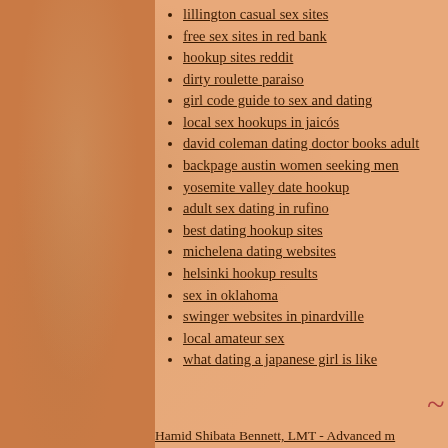lillington casual sex sites
free sex sites in red bank
hookup sites reddit
dirty roulette paraiso
girl code guide to sex and dating
local sex hookups in jaicós
david coleman dating doctor books adult
backpage austin women seeking men
yosemite valley date hookup
adult sex dating in rufino
best dating hookup sites
michelena dating websites
helsinki hookup results
sex in oklahoma
swinger websites in pinardville
local amateur sex
what dating a japanese girl is like
Hamid Shibata Bennett, LMT - Advanced m